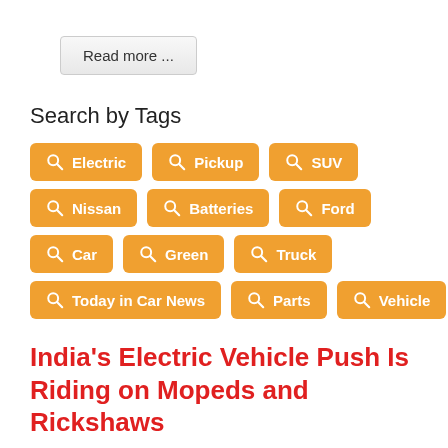Read more ...
Search by Tags
Electric
Pickup
SUV
Nissan
Batteries
Ford
Car
Green
Truck
Today in Car News
Parts
Vehicle
India's Electric Vehicle Push Is Riding on Mopeds and Rickshaws